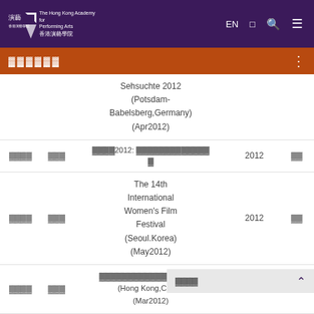[Figure (screenshot): Hong Kong Academy for Performing Arts top navigation bar with logo, EN language toggle, search and menu icons]
▓▓▓▓▓▓ (section navigation bar in orange)
|  |  | Festival/Event | Year |  |
| --- | --- | --- | --- | --- |
|  |  | Sehsuchte 2012 (Potsdam-Babelsberg,Germany) (Apr2012) |  |  |
| ▓▓▓▓ | ▓▓▓ | ▓▓▓▓2012: ▓▓▓▓▓▓▓▓▓▓▓▓▓ | 2012 | ▓▓ |
| ▓▓▓▓ | ▓▓▓ | The 14th International Women's Film Festival (Seoul.Korea) (May2012) | 2012 | ▓▓ |
| ▓▓▓▓ | ▓▓▓ | ▓▓▓▓▓▓▓▓▓▓▓▓▓▓—▓▓▓ (Hong Kong,China) (Mar2012) |  |  |
| ▓▓ | ▓▓▓ | ▓▓▓▓▓▓▓▓▓▓▓▓▓ | 2012 | ▓▓ |
| ▓▓▓▓▓ | ▓▓ | ▓▓▓▓▓▓▓▓▓▓ | 2012 | ▓▓ |